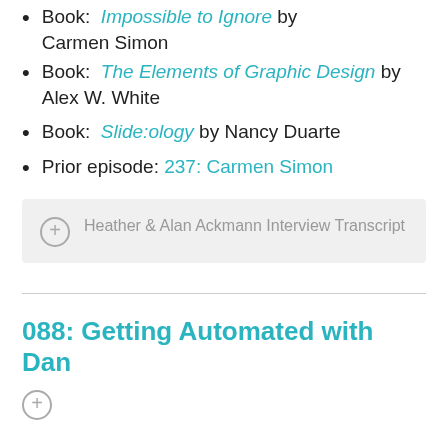Book: Impossible to Ignore by Carmen Simon
Book: The Elements of Graphic Design by Alex W. White
Book: Slide:ology by Nancy Duarte
Prior episode: 237: Carmen Simon
Heather & Alan Ackmann Interview Transcript
088: Getting Automated with Dan